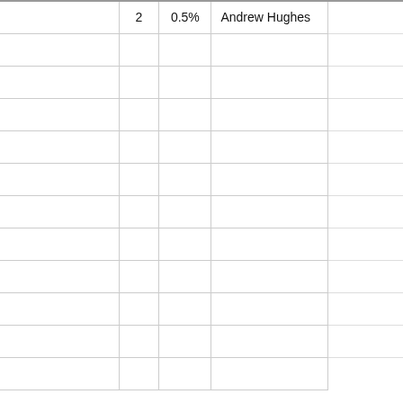|  | 2 | 0.5% | Andrew Hughes |
|  |  |  |  |
|  |  |  |  |
|  |  |  |  |
|  |  |  |  |
|  |  |  |  |
|  |  |  |  |
|  |  |  |  |
|  |  |  |  |
|  |  |  |  |
|  |  |  |  |
|  |  |  |  |